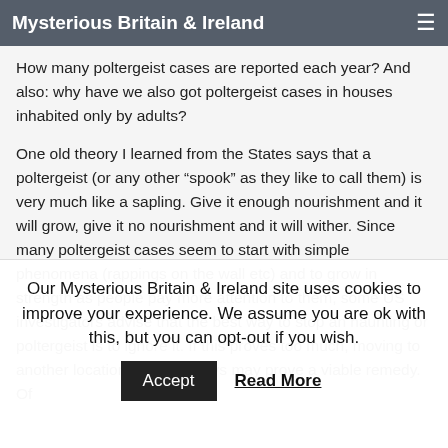Mysterious Britain & Ireland
How many poltergeist cases are reported each year? And also: why have we also got poltergeist cases in houses inhabited only by adults?
One old theory I learned from the States says that a poltergeist (or any other "spook" as they like to call them) is very much like a sapling. Give it enough nourishment and it will grow, give it no nourishment and it will wither. Since many poltergeist cases seem to start with simple phenomena (rappings on the wall etc) and to grow in strength as people pay more attention to them, some US investigators advise that the best way to stop an haunting or poltergeist is to ignore it. If this proves too much, moving to another location for a few days may prove a viable remedy. Of
Our Mysterious Britain & Ireland site uses cookies to improve your experience. We assume you are ok with this, but you can opt-out if you wish.